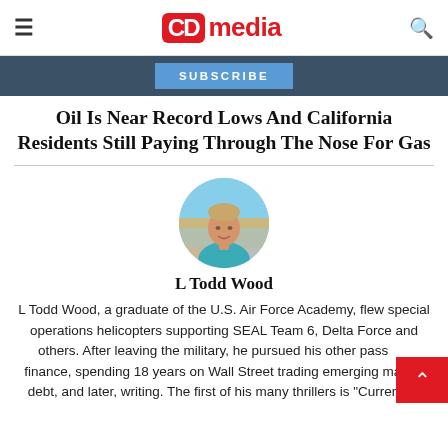≡  CD media  🔍
SUBSCRIBE
Oil Is Near Record Lows And California Residents Still Paying Through The Nose For Gas
[Figure (photo): Circular portrait photo of L Todd Wood, a man in a light blue shirt standing on a beach]
L Todd Wood
L Todd Wood, a graduate of the U.S. Air Force Academy, flew special operations helicopters supporting SEAL Team 6, Delta Force and others. After leaving the military, he pursued his other passion, finance, spending 18 years on Wall Street trading emerging market debt, and later, writing. The first of his many thrillers is "Currency."